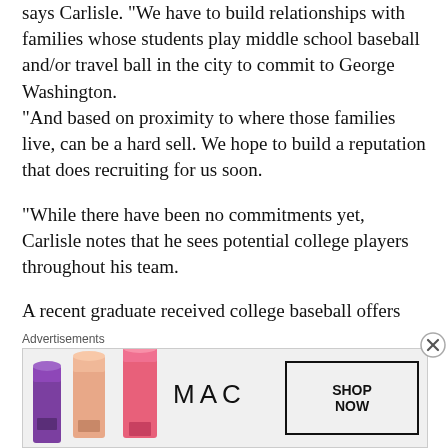says Carlisle. "We have to build relationships with families whose students play middle school baseball and/or travel ball in the city to commit to George Washington. "And based on proximity to where those families live, can be a hard sell. We hope to build a reputation that does recruiting for us soon.
"While there have been no commitments yet, Carlisle notes that he sees potential college players throughout his team.
A recent graduate received college baseball offers but opted to join the U.S. Army.
Coach Carlisle is a 2007 graduate of Flint (Mich.) Kearsley High School. Carlisle was a pitcher for two seasons each at Olivet Nazarene University (Bourbonnais, Ill.) and Grace College (Winona Lake, Ind.). His head coaches were Todd Rei…
[Figure (photo): MAC cosmetics advertisement showing lipsticks in purple, peach, and pink colors with MAC logo and SHOP NOW button]